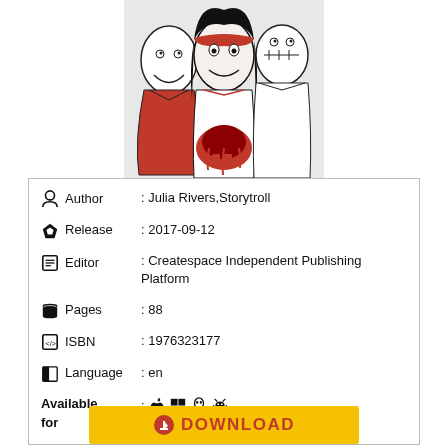[Figure (illustration): Dark horror-style book cover illustration with characters including a girl with black hair wearing a red headband, flanked by clown-like figures, with a bloody red skull in the center foreground. Black and white with red accents.]
| Author | : Julia Rivers,Storytroll |
| Release | : 2017-09-12 |
| Editor | : Createspace Independent Publishing Platform |
| Pages | : 88 |
| ISBN | : 1976323177 |
| Language | : en |
| Available for | : [icons: Apple, Windows, Linux, Android] |
DOWNLOAD